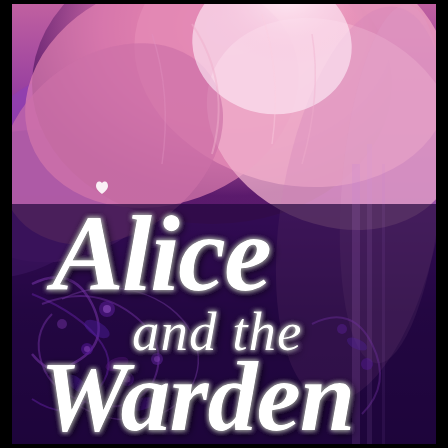[Figure (illustration): Book cover with a large pink peony/rose filling the upper half, fading into a deep purple/dark background. Decorative floral vines and small flowers appear in the lower portion. White cursive/script text reads 'Alice and the Warden'. Black border frames the cover.]
Alice and the Warden